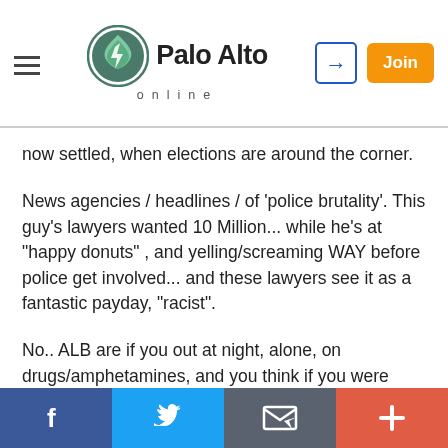Palo Alto online
now settled, when elections are around the corner.
News agencies / headlines / of 'police brutality'. This guy's lawyers wanted 10 Million... while he's at "happy donuts" , and yelling/screaming WAY before police get involved... and these lawyers see it as a fantastic payday, "racist".
No.. ALB are if you out at night, alone, on drugs/amphetamines, and you think if you were white police would not do anything?
You are going to be under suspicion .. I doubt any young person would want to look into a career in law enforcement,after the "BLM" movement. We
Facebook | Twitter | Email | More